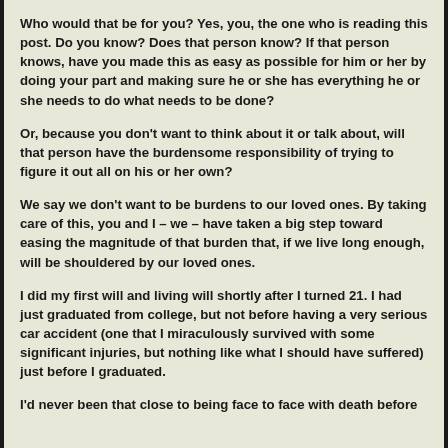Who would that be for you? Yes, you, the one who is reading this post. Do you know? Does that person know? If that person knows, have you made this as easy as possible for him or her by doing your part and making sure he or she has everything he or she needs to do what needs to be done?
Or, because you don't want to think about it or talk about, will that person have the burdensome responsibility of trying to figure it out all on his or her own?
We say we don't want to be burdens to our loved ones. By taking care of this, you and I – we – have taken a big step toward easing the magnitude of that burden that, if we live long enough, will be shouldered by our loved ones.
I did my first will and living will shortly after I turned 21. I had just graduated from college, but not before having a very serious car accident (one that I miraculously survived with some significant injuries, but nothing like what I should have suffered) just before I graduated.
I'd never been that close to being face to face with death before